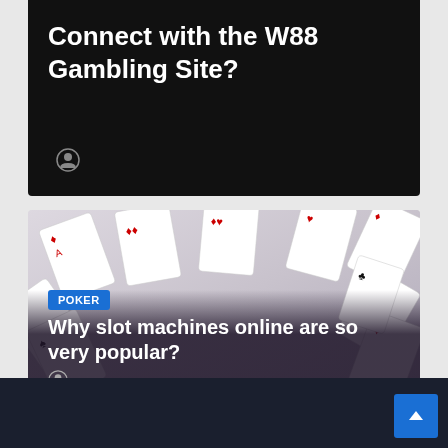Connect with the W88 Gambling Site?
[Figure (photo): Playing cards scattered on a surface — decorated with spades, hearts, diamonds, clubs in red and black on white cards, used as background for poker article]
POKER
Why slot machines online are so very popular?